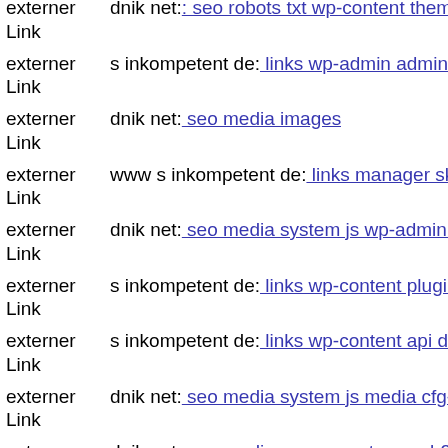externer Link | dnik net: seo robots txt wp-content themes stendhal theme t
externer Link | s inkompetent de: links wp-admin admin-ajax php
externer Link | dnik net: seo media images
externer Link | www s inkompetent de: links manager skin wp-content plug
externer Link | dnik net: seo media system js wp-admin includes plugins co
externer Link | s inkompetent de: links wp-content plugins formcraft file-u
externer Link | s inkompetent de: links wp-content api downloader compor
externer Link | dnik net: seo media system js media cfg-contactform-11 inc
externer Link | dnik net: seo media components com b2jcontact cache info
externer Link | s inkompetent de: links links phpthumb style' 'tmp dnik net
externer Link | dnik net: seo media system js wp-admin includes plugins co
externer Link | www s inkompetent de: links wp-content themes pinshop st